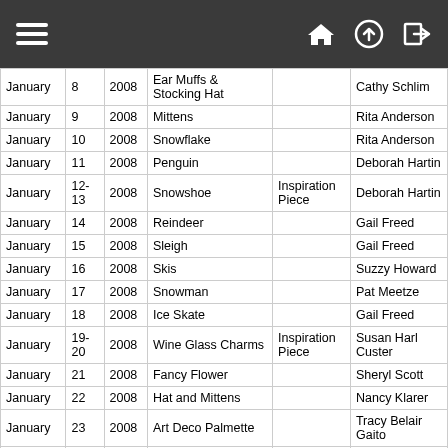Navigation header with hamburger menu and icons
| Month | Day | Year | Pattern | Notes | Designer |
| --- | --- | --- | --- | --- | --- |
| January | 8 | 2008 | Ear Muffs & Stocking Hat |  | Cathy Schlim |
| January | 9 | 2008 | Mittens |  | Rita Anderson |
| January | 10 | 2008 | Snowflake |  | Rita Anderson |
| January | 11 | 2008 | Penguin |  | Deborah Hartin |
| January | 12-13 | 2008 | Snowshoe | Inspiration Piece | Deborah Hartin |
| January | 14 | 2008 | Reindeer |  | Gail Freed |
| January | 15 | 2008 | Sleigh |  | Gail Freed |
| January | 16 | 2008 | Skis |  | Suzzy Howard |
| January | 17 | 2008 | Snowman |  | Pat Meetze |
| January | 18 | 2008 | Ice Skate |  | Gail Freed |
| January | 19-20 | 2008 | Wine Glass Charms | Inspiration Piece | Susan Harl Custer |
| January | 21 | 2008 | Fancy Flower |  | Sheryl Scott |
| January | 22 | 2008 | Hat and Mittens |  | Nancy Klarer |
| January | 23 | 2008 | Art Deco Palmette |  | Tracy Belair Gaito |
| January | 24 | 2008 | Pinwheel Flower |  | Sheryl Scott |
| January | 25 | 2008 | Early Art Deco Lily |  | Tracy Belair Gaito |
| January | 26-27 | 2008 | Geometric Design | Inspiration Piece | Patricia Caputo |
| January | 28 | 2008 | Distelfink Bird |  | Cathy Schlim |
| January | 29 | 2008 | Picture Corners |  | Karen Frantz |